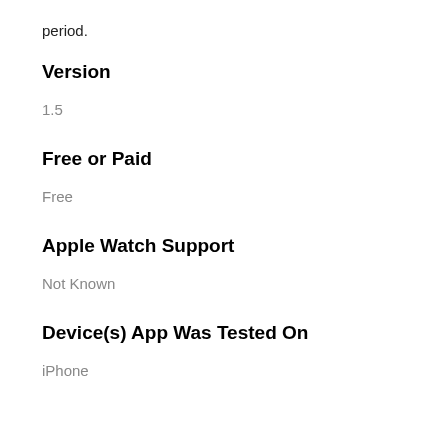period.
Version
1.5
Free or Paid
Free
Apple Watch Support
Not Known
Device(s) App Was Tested On
iPhone